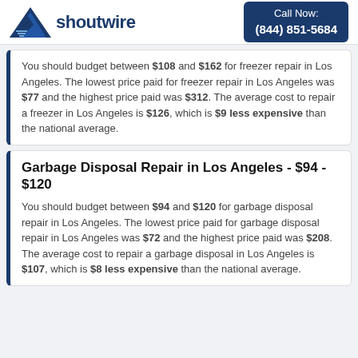shoutwire | Call Now: (844) 851-5684
You should budget between $108 and $162 for freezer repair in Los Angeles. The lowest price paid for freezer repair in Los Angeles was $77 and the highest price paid was $312. The average cost to repair a freezer in Los Angeles is $126, which is $9 less expensive than the national average.
Garbage Disposal Repair in Los Angeles - $94 - $120
You should budget between $94 and $120 for garbage disposal repair in Los Angeles. The lowest price paid for garbage disposal repair in Los Angeles was $72 and the highest price paid was $208. The average cost to repair a garbage disposal in Los Angeles is $107, which is $8 less expensive than the national average.